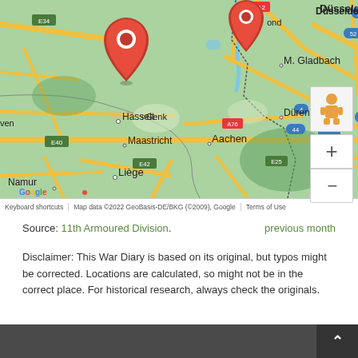[Figure (map): Google Map showing Belgium, Netherlands, and western Germany region with red location pin markers near Hasselt/Belgium area. Shows cities including Hasselt, Genk, Maastricht, Aachen, Liège, Namur, M. Gladbach, Düren, and highway labels E34, A2, A76, E40, E42, E25, 52, 44, 61, 4, 553. Map includes zoom controls (+/-) and Street View pegman icon.]
Source: 11th Armoured Division.    previous month
Disclaimer: This War Diary is based on its original, but typos might be corrected. Locations are calculated, so might not be in the correct place. For historical research, always check the originals.